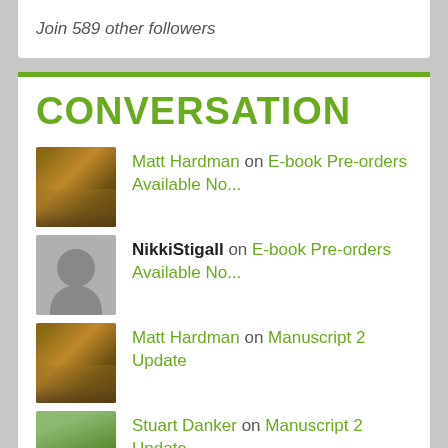Join 589 other followers
CONVERSATION
Matt Hardman on E-book Pre-orders Available No...
NikkiStigall on E-book Pre-orders Available No...
Matt Hardman on Manuscript 2 Update
Stuart Danker on Manuscript 2 Update
Matt Hardman on Another Update